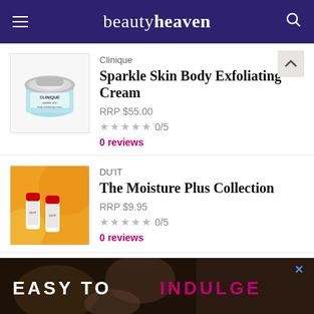beautyheaven
[Figure (photo): Clinique Sparkle Skin Body Exfoliating Cream product jar with silver lid and light blue/teal container]
Clinique
Sparkle Skin Body Exfoliating Cream
RRP $55.00
★ ★ ★ ★ ★ 0/5
0 reviews
[Figure (photo): DU'IT The Moisture Plus Collection product tubes on orange/yellow background]
DU'IT
The Moisture Plus Collection
RRP $9.95
★ ★ ★ ★ ★ 0/5
0 reviews
[Figure (photo): Burt's Bees Hemp Hand Cream product tube, yellow colored]
Burt's Bees
Hemp Hand Cream
[Figure (photo): Advertisement banner with text EASY TO INDULGE over a photo of beauty/food items]